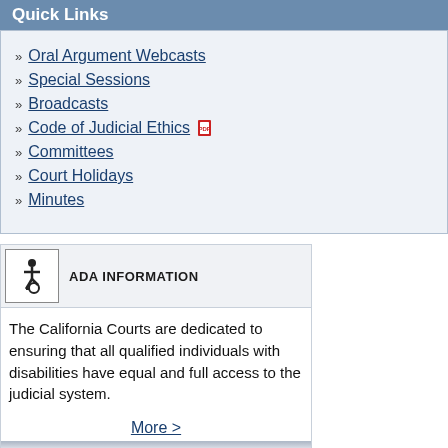Quick Links
Oral Argument Webcasts
Special Sessions
Broadcasts
Code of Judicial Ethics
Committees
Court Holidays
Minutes
[Figure (illustration): ADA wheelchair accessibility icon inside a bordered box]
ADA INFORMATION
The California Courts are dedicated to ensuring that all qualified individuals with disabilities have equal and full access to the judicial system.
More >
Related Links